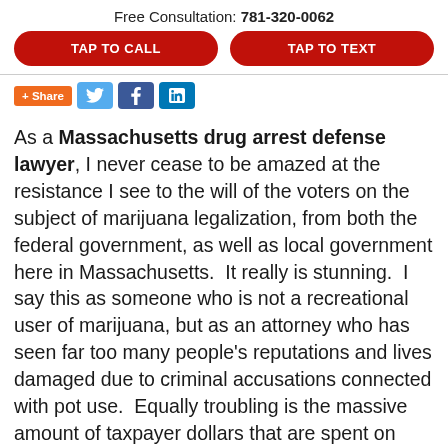Free Consultation: 781-320-0062
[Figure (other): Two red rounded buttons: TAP TO CALL and TAP TO TEXT]
[Figure (other): Social share bar with +Share, Twitter, Facebook, LinkedIn buttons]
As a Massachusetts drug arrest defense lawyer, I never cease to be amazed at the resistance I see to the will of the voters on the subject of marijuana legalization, from both the federal government, as well as local government here in Massachusetts.  It really is stunning.  I say this as someone who is not a recreational user of marijuana, but as an attorney who has seen far too many people’s reputations and lives damaged due to criminal accusations connected with pot use.  Equally troubling is the massive amount of taxpayer dollars that are spent on police departments and prosecutors to prosecute use of